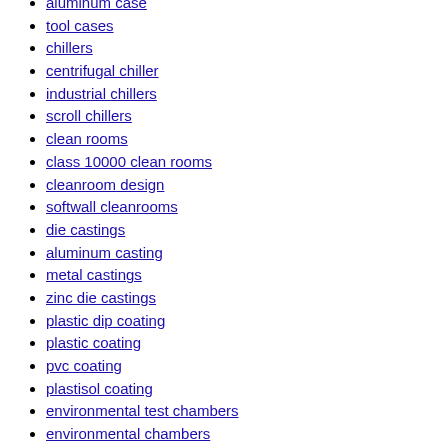aluminum case
tool cases
chillers
centrifugal chiller
industrial chillers
scroll chillers
clean rooms
class 10000 clean rooms
cleanroom design
softwall cleanrooms
die castings
aluminum casting
metal castings
zinc die castings
plastic dip coating
plastic coating
pvc coating
plastisol coating
environmental test chambers
environmental chambers
humidity chambers
stability chambers
rotameters
water flow meters
flow gauges